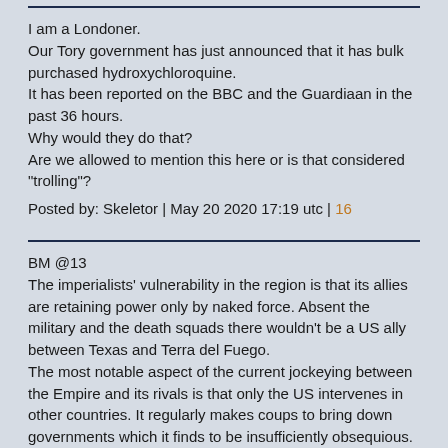I am a Londoner.
Our Tory government has just announced that it has bulk purchased hydroxychloroquine.
It has been reported on the BBC and the Guardiaan in the past 36 hours.
Why would they do that?
Are we allowed to mention this here or is that considered "trolling"?
Posted by: Skeletor | May 20 2020 17:19 utc | 16
BM @13
The imperialists' vulnerability in the region is that its allies are retaining power only by naked force. Absent the military and the death squads there wouldn't be a US ally between Texas and Terra del Fuego.
The most notable aspect of the current jockeying between the Empire and its rivals is that only the US intervenes in other countries. It regularly makes coups to bring down governments which it finds to be insufficiently obsequious.
On the other hand despite the unpopularity of governments in Chile, Colombia, Guatemala, Honduras, Ecuador, Brazil and Bolivia they are allowed to crush popular protests, assassinate critics and lower popular living standards without anything but mild and private criticism from outside.